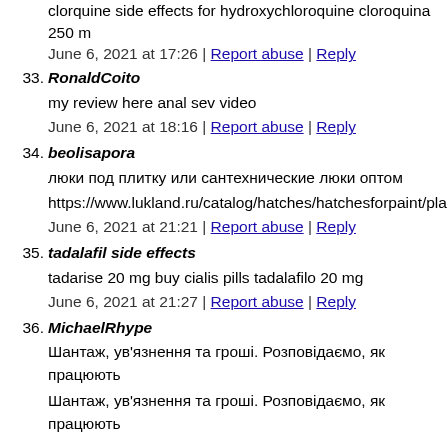clorquine side effects for hydroxychloroquine cloroquina 250 m
June 6, 2021 at 17:26 | Report abuse | Reply
33. RonaldCoito
my review here anal sev video
June 6, 2021 at 18:16 | Report abuse | Reply
34. beolisapora
люки под плитку или сантехнические люки оптом
https://www.lukland.ru/catalog/hatches/hatchesforpaint/plansh
June 6, 2021 at 21:21 | Report abuse | Reply
35. tadalafil side effects
tadarise 20 mg buy cialis pills tadalafilo 20 mg
June 6, 2021 at 21:27 | Report abuse | Reply
36. MichaelRhype
Шантаж, ув'язнення та гроші. Розповідаємо, як працюють
Шантаж, ув'язнення та гроші. Розповідаємо, як працюють